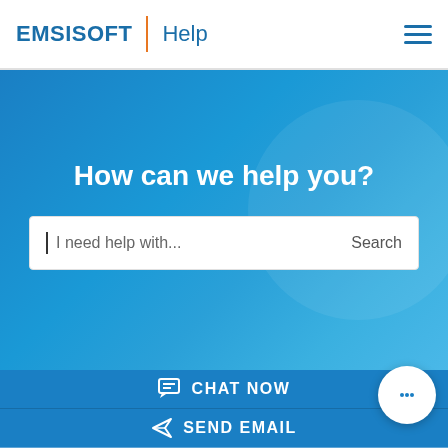EMSISOFT | Help
How can we help you?
I need help with...  Search
CHAT NOW
SEND EMAIL